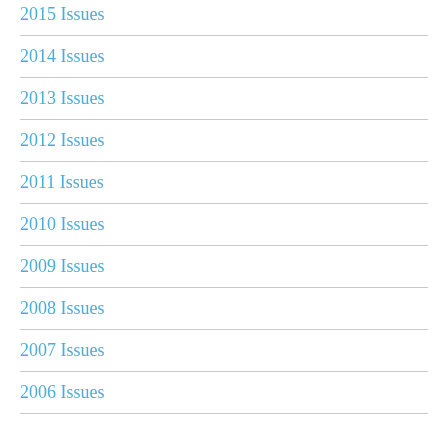2015 Issues
2014 Issues
2013 Issues
2012 Issues
2011 Issues
2010 Issues
2009 Issues
2008 Issues
2007 Issues
2006 Issues